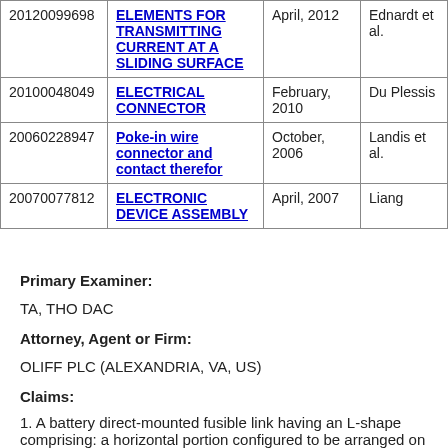|  |  |  |  |
| --- | --- | --- | --- |
| 20120099698 | ELEMENTS FOR TRANSMITTING CURRENT AT A SLIDING SURFACE | April, 2012 | Ednardt et al. |
| 20100048049 | ELECTRICAL CONNECTOR | February, 2010 | Du Plessis |
| 20060228947 | Poke-in wire connector and contact therefor | October, 2006 | Landis et al. |
| 20070077812 | ELECTRONIC DEVICE ASSEMBLY | April, 2007 | Liang |
Primary Examiner:
TA, THO DAC
Attorney, Agent or Firm:
OLIFF PLC (ALEXANDRIA, VA, US)
Claims:
1. A battery direct-mounted fusible link having an L-shape comprising: a horizontal portion configured to be arranged on a top surface of a battery,